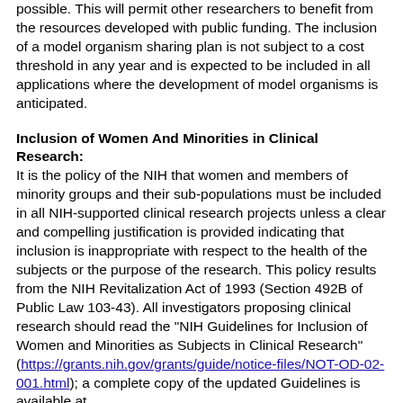possible. This will permit other researchers to benefit from the resources developed with public funding. The inclusion of a model organism sharing plan is not subject to a cost threshold in any year and is expected to be included in all applications where the development of model organisms is anticipated.
Inclusion of Women And Minorities in Clinical Research:
It is the policy of the NIH that women and members of minority groups and their sub-populations must be included in all NIH-supported clinical research projects unless a clear and compelling justification is provided indicating that inclusion is inappropriate with respect to the health of the subjects or the purpose of the research. This policy results from the NIH Revitalization Act of 1993 (Section 492B of Public Law 103-43). All investigators proposing clinical research should read the "NIH Guidelines for Inclusion of Women and Minorities as Subjects in Clinical Research" (https://grants.nih.gov/grants/guide/notice-files/NOT-OD-02-001.html); a complete copy of the updated Guidelines is available at https://grants.nih.gov/grants/funding/women_min/guidelines_a The amended policy incorporates: the use of an NIH definition of clinical research; updated racial and ethnic categories in compliance with the new OMB standards;